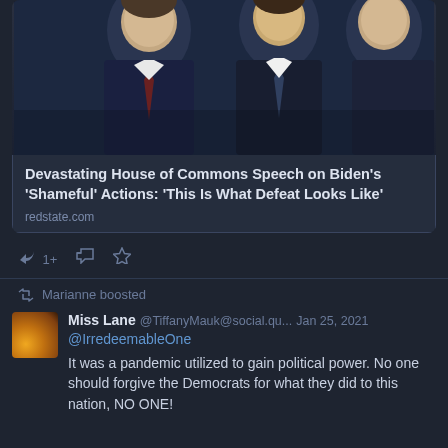[Figure (photo): Photo of men in dark suits sitting in what appears to be parliament or formal setting]
Devastating House of Commons Speech on Biden's 'Shameful' Actions: 'This Is What Defeat Looks Like'
redstate.com
1+
Marianne boosted
Miss Lane  @TiffanyMauk@social.qu...  Jan 25, 2021
@IrredeemableOne
It was a pandemic utilized to gain political power. No one should forgive the Democrats for what they did to this nation, NO ONE!